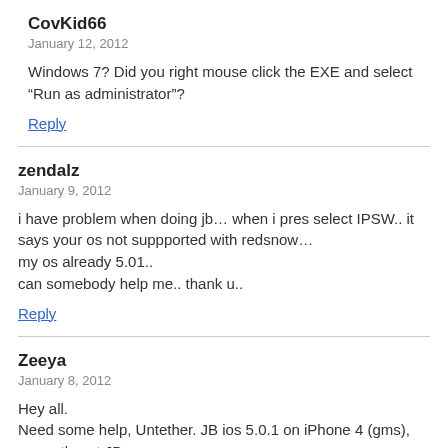CovKid66
January 12, 2012
Windows 7? Did you right mouse click the EXE and select “Run as administrator”?
Reply
zendalz
January 9, 2012
i have problem when doing jb… when i pres select IPSW.. it says your os not suppported with redsnow… my os already 5.01.. can somebody help me.. thank u..
Reply
Zeeya
January 8, 2012
Hey all.
Need some help, Untether. JB ios 5.0.1 on iPhone 4 (gms), currently not JB…
Using redsnow 0.9.10b3 (currently latest version), and selecting the ipsw be4 trying 2 JB, when i get it 2 DFU mode and the “JB’ing starts”, it get stock on “exploiting…